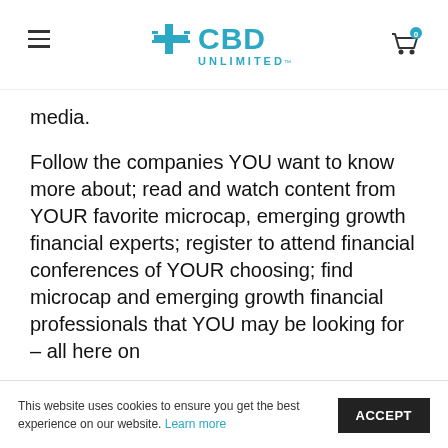CBD Unlimited logo, hamburger menu, cart icon
media.
Follow the companies YOU want to know more about; read and watch content from YOUR favorite microcap, emerging growth financial experts; register to attend financial conferences of YOUR choosing; find microcap and emerging growth financial professionals that YOU may be looking for – all here on
This website uses cookies to ensure you get the best experience on our website. Learn more ACCEPT